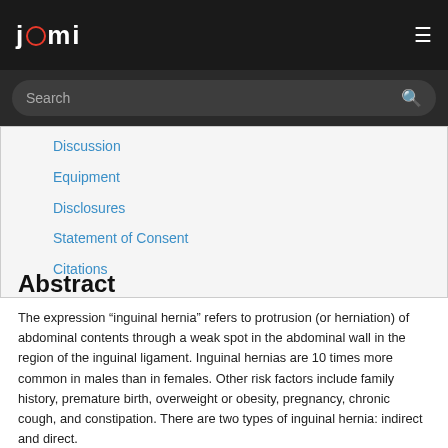JOMI
Discussion
Equipment
Disclosures
Statement of Consent
Citations
Abstract
The expression “inguinal hernia” refers to protrusion (or herniation) of abdominal contents through a weak spot in the abdominal wall in the region of the inguinal ligament. Inguinal hernias are 10 times more common in males than in females. Other risk factors include family history, premature birth, overweight or obesity, pregnancy, chronic cough, and constipation. There are two types of inguinal hernia: indirect and direct.
An indirect inguinal hernia, the more common type, often occurs